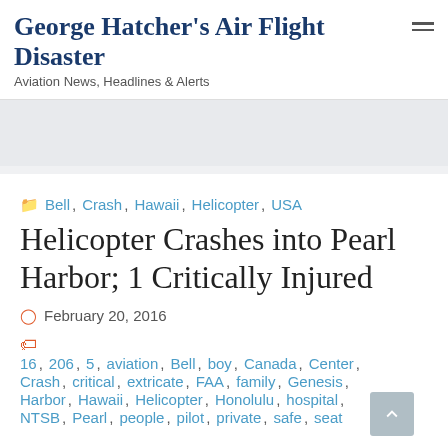George Hatcher's Air Flight Disaster
Aviation News, Headlines & Alerts
Bell, Crash, Hawaii, Helicopter, USA
Helicopter Crashes into Pearl Harbor; 1 Critically Injured
February 20, 2016
16, 206, 5, aviation, Bell, boy, Canada, Center, Crash, critical, extricate, FAA, family, Genesis, Harbor, Hawaii, Helicopter, Honolulu, hospital, NTSB, Pearl, people, pilot, private, safe, seat